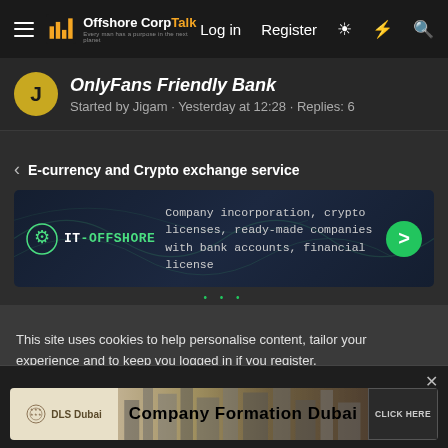OffshoreCorpTalk | Log in | Register
OnlyFans Friendly Bank
Started by Jigam · Yesterday at 12:28 · Replies: 6
E-currency and Crypto exchange service
[Figure (infographic): IT-OFFSHORE advertisement banner: Company incorporation, crypto licenses, ready-made companies with bank accounts, financial license]
This site uses cookies to help personalise content, tailor your experience and to keep you logged in if you register.
By continuing to use this site, you are consenting to our use of cookies.
✓ Accept    Learn more...
[Figure (infographic): DLS Dubai - Company Formation Dubai advertisement banner with CLICK HERE button]